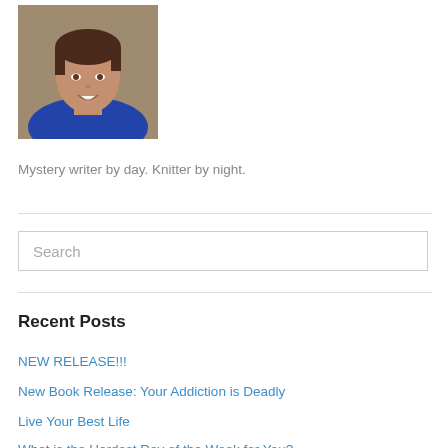[Figure (photo): Headshot photo of a woman with short brown hair wearing a blue top, seated in a beige chair, smiling at the camera.]
Mystery writer by day. Knitter by night.
Search
Recent Posts
NEW RELEASE!!!
New Book Release: Your Addiction is Deadly
Live Your Best Life
What is the Hardest Day of the Week for You?